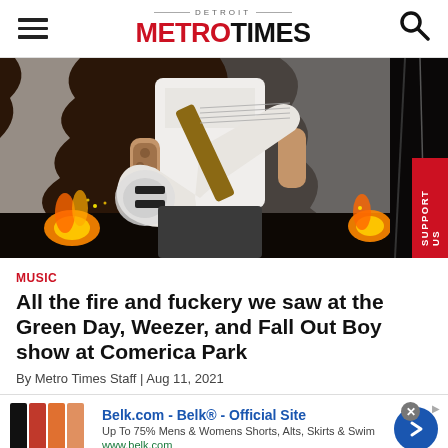DETROIT METRO TIMES
[Figure (photo): Concert photo showing a tattooed musician playing a white bass guitar on stage with fire and pyrotechnics visible in the background, with a red 'SUPPORT US' button on the right edge]
MUSIC
All the fire and fuckery we saw at the Green Day, Weezer, and Fall Out Boy show at Comerica Park
By Metro Times Staff | Aug 11, 2021
[Figure (other): Advertisement banner for Belk.com - Belk® - Official Site. Up To 75% Mens & Womens Shorts, Alts, Skirts & Swim. www.belk.com]